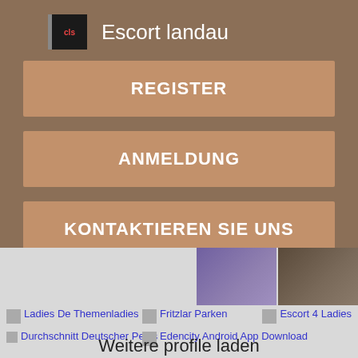Escort landau
REGISTER
ANMELDUNG
KONTAKTIEREN SIE UNS
[Figure (photo): Two cropped photos visible in the lower right area]
Ladies De Themenladies
Fritzlar Parken
Escort 4 Ladies
Durchschnitt Deutscher Penis
Edencity Android App Download
Weitere profile laden